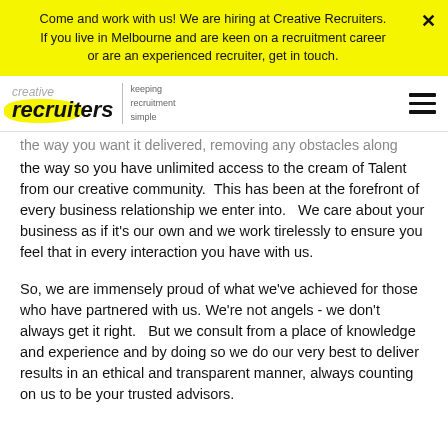Come and work with us! We are hiring at Creative Recruiters. If you live in Melbourne and are keen on a recruitment career or are an experienced recruiter, get in touch.
[Figure (logo): Creative Recruiters logo with yellow highlight and tagline 'keeping recruitment simple']
the way you want it delivered, removing any obstacles along the way so you have unlimited access to the cream of Talent from our creative community.  This has been at the forefront of every business relationship we enter into.   We care about your business as if it's our own and we work tirelessly to ensure you feel that in every interaction you have with us.
So, we are immensely proud of what we've achieved for those who have partnered with us. We're not angels - we don't always get it right.   But we consult from a place of knowledge and experience and by doing so we do our very best to deliver results in an ethical and transparent manner, always counting on us to be your trusted advisors.